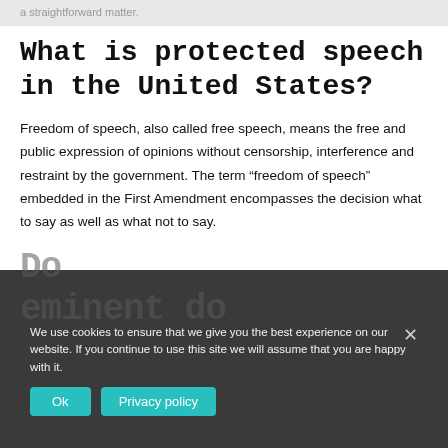a straightforward matter.
What is protected speech in the United States?
Freedom of speech, also called free speech, means the free and public expression of opinions without censorship, interference and restraint by the government. The term “freedom of speech” embedded in the First Amendment encompasses the decision what to say as well as what not to say.
We use cookies to ensure that we give you the best experience on our website. If you continue to use this site we will assume that you are happy with it.